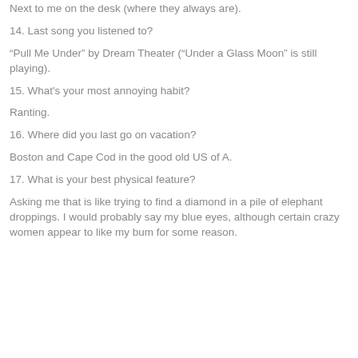Next to me on the desk (where they always are).
14. Last song you listened to?
“Pull Me Under” by Dream Theater (“Under a Glass Moon” is still playing).
15. What's your most annoying habit?
Ranting.
16. Where did you last go on vacation?
Boston and Cape Cod in the good old US of A.
17. What is your best physical feature?
Asking me that is like trying to find a diamond in a pile of elephant droppings. I would probably say my blue eyes, although certain crazy women appear to like my bum for some reason.